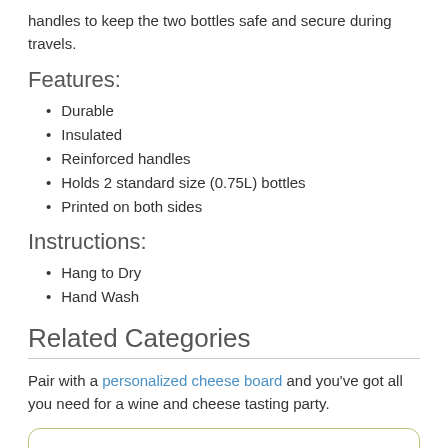handles to keep the two bottles safe and secure during travels.
Features:
Durable
Insulated
Reinforced handles
Holds 2 standard size (0.75L) bottles
Printed on both sides
Instructions:
Hang to Dry
Hand Wash
Related Categories
Pair with a personalized cheese board and you've got all you need for a wine and cheese tasting party.
[Figure (other): Card with image placeholder and Kids Designs label]